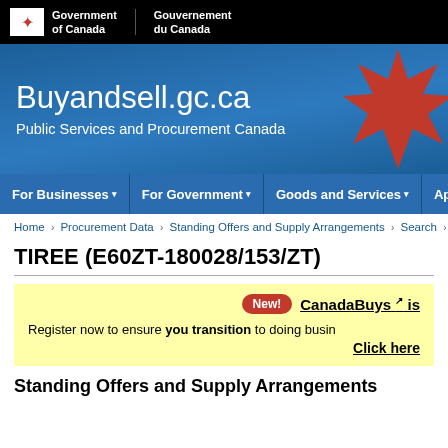Government of Canada / Gouvernement du Canada
[Figure (screenshot): Buyandsell.gc.ca banner with maple leaf logo on blue background. Title: Buyandsell.gc.ca. Subtitle: Public Services and Procurement Canada.]
For Businesses | For Government | Goods and Services | Applic...
Home > Procurement Data > Standing Offers and Supply Arrangements > Search > TIR...
TIREE (E60ZT-180028/153/ZT)
New! CanadaBuys is... Register now to ensure you transition to doing busin... Click here
Standing Offers and Supply Arrangements